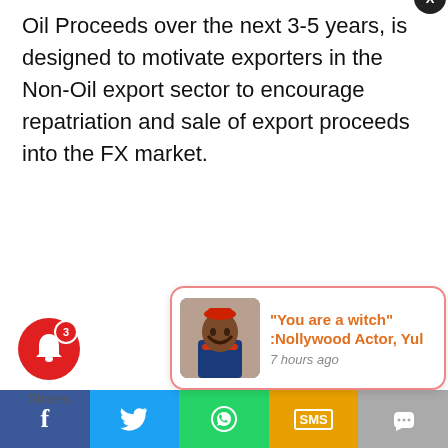Oil Proceeds over the next 3-5 years, is designed to motivate exporters in the Non-Oil export sector to encourage repatriation and sale of export proceeds into the FX market.
[Figure (screenshot): Notification popup card showing a Nollywood story: '"You are a witch" :Nollywood Actor, Yul' posted 7 hours ago, with a thumbnail of a man in traditional attire. Below is a social sharing bar with Facebook, Twitter, WhatsApp, SMS, and more buttons. A bell icon with badge '3' and 'Shares' label appears bottom-left.]